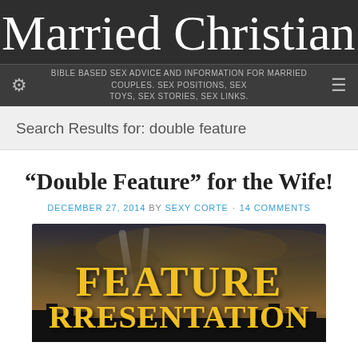Married Christian Sex
BIBLE BASED SEX ADVICE AND INFORMATION FOR MARRIED COUPLES. SEX POSITIONS, SEX TOYS, SEX STORIES, SEX LINKS.
Search Results for: double feature
“Double Feature” for the Wife!
DECEMBER 27, 2014 BY SEXY CORTE · 14 COMMENTS
[Figure (photo): Feature Presentation movie title card over a dramatic city skyline with searchlight beams against a stormy sky]